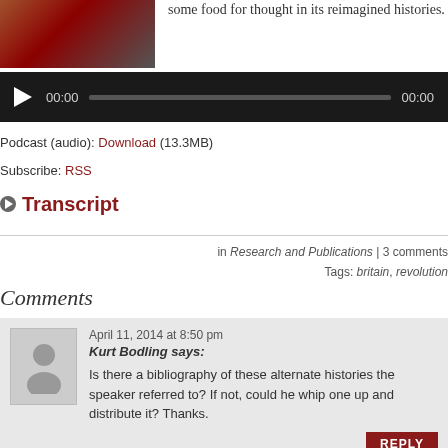[Figure (photo): Thumbnail image of a person]
some food for thought in its reimagined histories.
[Figure (screenshot): Audio player bar showing 00:00 / 00:00 with play button and progress bar]
Podcast (audio): Download (13.3MB)
Subscribe: RSS
Transcript
in Research and Publications | 3 comments
Tags: britain, revolution
Comments
April 11, 2014 at 8:50 pm
Kurt Bodling says:
Is there a bibliography of these alternate histories the speaker referred to? If not, could he whip one up and distribute it? Thanks.